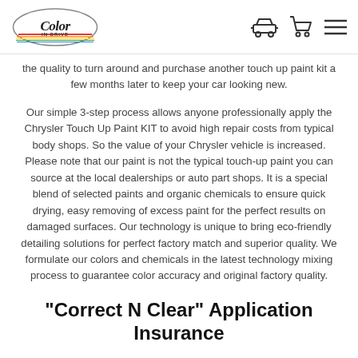Color In Drive — navigation header with logo, car icon, cart icon, menu icon
the quality to turn around and purchase another touch up paint kit a few months later to keep your car looking new.
Our simple 3-step process allows anyone professionally apply the Chrysler Touch Up Paint KIT to avoid high repair costs from typical body shops. So the value of your Chrysler vehicle is increased. Please note that our paint is not the typical touch-up paint you can source at the local dealerships or auto part shops. It is a special blend of selected paints and organic chemicals to ensure quick drying, easy removing of excess paint for the perfect results on damaged surfaces. Our technology is unique to bring eco-friendly detailing solutions for perfect factory match and superior quality. We formulate our colors and chemicals in the latest technology mixing process to guarantee color accuracy and original factory quality.
"Correct N Clear" Application Insurance